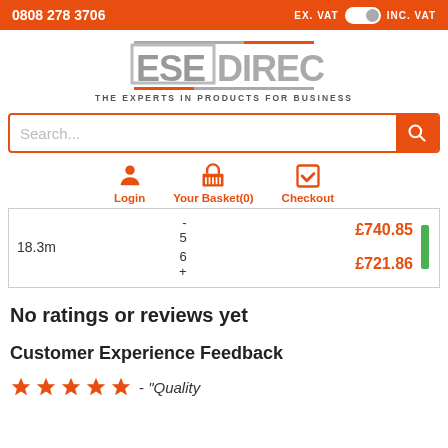0808 278 3706   EX. VAT [toggle] INC. VAT
[Figure (logo): ESEDirect logo - THE EXPERTS IN PRODUCTS FOR BUSINESS]
[Figure (screenshot): Search bar with search button]
[Figure (infographic): Navigation icons: Login, Your Basket(0), Checkout]
| Size | Qty | Price |
| --- | --- | --- |
| 18.3m | - 5 | £740.85 |
|  | 6 + | £721.86 |
No ratings or reviews yet
Customer Experience Feedback
★★★★★ - "Quality